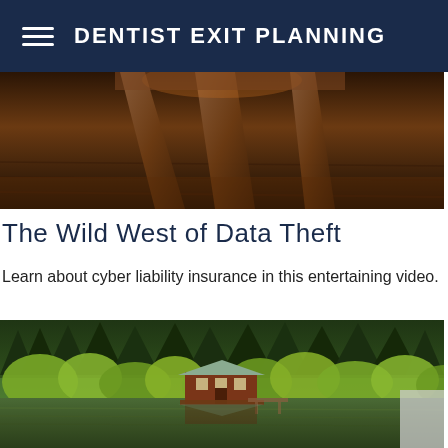DENTIST EXIT PLANNING
[Figure (photo): Close-up of wooden furniture legs or antler/branch on dark wooden floor, warm amber tones]
The Wild West of Data Theft
Learn about cyber liability insurance in this entertaining video.
[Figure (photo): A red cabin/boathouse reflected in a calm lake surrounded by dense green forest trees]